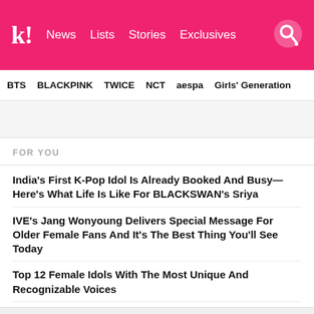Koreaboo — News | Lists | Stories | Exclusives
BTS  BLACKPINK  TWICE  NCT  aespa  Girls' Generation
FOR YOU
India's First K-Pop Idol Is Already Booked And Busy—Here's What Life Is Like For BLACKSWAN's Sriya
IVE's Jang Wonyoung Delivers Special Message For Older Female Fans And It's The Best Thing You'll See Today
Top 12 Female Idols With The Most Unique And Recognizable Voices
BTS Breaks Record With 2022 VMAs Win
SEVENTEEN Wins At 2022 VMAs